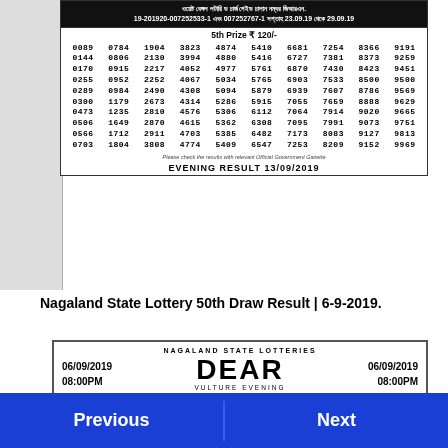ওয়েষ্ট বেঙ্গল লটারি ড চার্জ পেইড চালান নম্বর জিআরএন. 19-201920-007252533-1 এবং 007252767-1 সপ্তাহ 23.09.19 থেকে 29.09.19
| 0089 | 0784 | 1904 | 3823 | 4874 | 5410 | 6681 | 7254 | 8366 | 9191 |
| 0144 | 0806 | 2130 | 3994 | 4880 | 5416 | 6727 | 7381 | 8373 | 9259 |
| 0170 | 0915 | 2217 | 4052 | 4977 | 5761 | 6870 | 7430 | 8423 | 9451 |
| 0255 | 0952 | 2252 | 4067 | 5034 | 5765 | 6903 | 7533 | 8500 | 9500 |
| 0289 | 0984 | 2490 | 4308 | 5094 | 5879 | 6939 | 7607 | 8786 | 9569 |
| 0300 | 1179 | 2673 | 4314 | 5286 | 5915 | 7055 | 7659 | 8888 | 9629 |
| 0473 | 1235 | 2810 | 4576 | 5306 | 6112 | 7064 | 7914 | 9020 | 9665 |
| 0506 | 1649 | 2870 | 4615 | 5362 | 6308 | 7095 | 7991 | 9073 | 9751 |
| 0566 | 1712 | 2911 | 4703 | 5385 | 6482 | 7173 | 8083 | 9127 | 9813 |
| 0703 | 1804 | 3808 | 4774 | 5409 | 6547 | 7253 | 8209 | 9152 | 9969 |
Please check the results with relevant Official Government Gazette
EVENING RESULT 13/09/2019
Nagaland State Lottery 50th Draw Result | 6-9-2019.
[Figure (other): Nagaland State Lotteries ticket header showing DEAR VULTURE EVENING, date 06/09/2019, time 08:00PM, 50th Draw held on 06/09/2019, Price ₹6/-]
Previous | Next